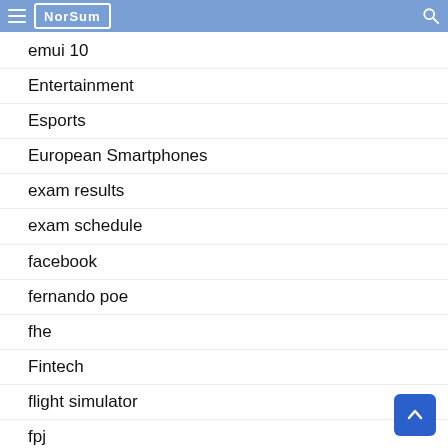NorSum
emui 10
Entertainment
Esports
European Smartphones
exam results
exam schedule
facebook
fernando poe
fhe
Fintech
flight simulator
fpj
free speed boost